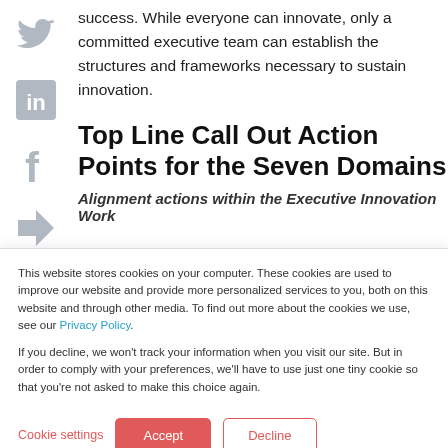[Figure (illustration): Social media share icons on the left sidebar: Twitter bird icon, LinkedIn 'in' icon, Facebook 'f' icon, and a share arrow icon]
success. While everyone can innovate, only a committed executive team can establish the structures and frameworks necessary to sustain innovation.
Top Line Call Out Action Points for the Seven Domains
Alignment actions within the Executive Innovation Work
This website stores cookies on your computer. These cookies are used to improve our website and provide more personalized services to you, both on this website and through other media. To find out more about the cookies we use, see our Privacy Policy.
If you decline, we won't track your information when you visit our site. But in order to comply with your preferences, we'll have to use just one tiny cookie so that you're not asked to make this choice again.